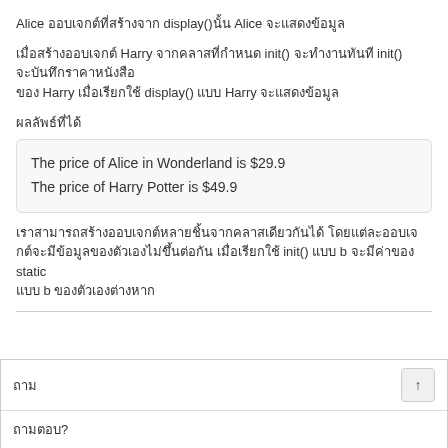Alice ออบเจกต์ที่สร้างจาก display() นั้น Alice จะแสดงข้อมูล
เมื่อสร้างออบเจกต์ Harry จากคลาสที่กำหนด init() จะทำงานทันที init() จะบันทึกราคาหนังสือ Harry และเมื่อเรียก display() จะแสดง Harry ออกมา
ผลลัพธ์ที่ได้
[Figure (screenshot): Output box showing: The price of Alice in Wonderland is $29.9 / The price of Harry Potter is $49.9]
เราสามารถสร้างออบเจกต์หลายชิ้นจากคลาสเดียวกันได้ โดยแต่ละออบเจกต์จะมีข้อมูลของตัวเอง ไม่ขึ้นกับกัน เมื่อเรียก init() และ b จะมีค่าของ static และ b ของตัวเองต่างหาก
ถามตอบ?